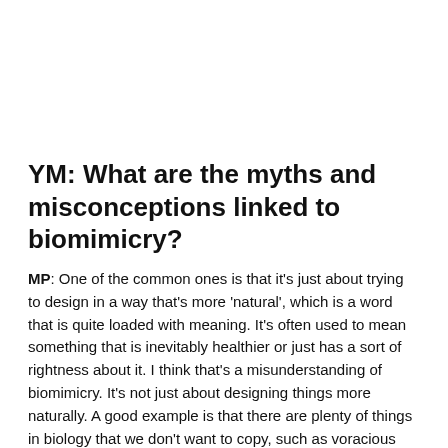YM: What are the myths and misconceptions linked to biomimicry?
MP: One of the common ones is that it's just about trying to design in a way that's more 'natural', which is a word that is quite loaded with meaning. It's often used to mean something that is inevitably healthier or just has a sort of rightness about it. I think that's a misunderstanding of biomimicry. It's not just about designing things more naturally. A good example is that there are plenty of things in biology that we don't want to copy, such as voracious parasitism. Biomimicry is really about taking a very cool and discerning look about what works well in biology and what can be applied to create a good quality of life for humans and to solve some of the key challenges that we need to address over the next few decades.